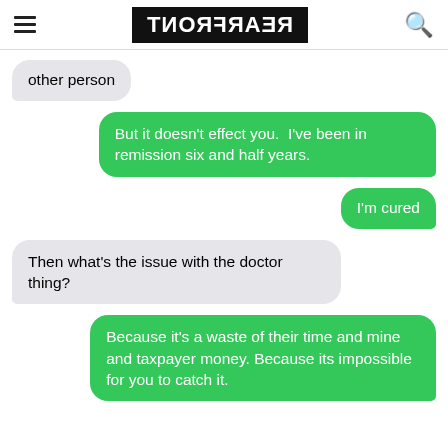REARFRONT
other person
But it doesn't effect you.  I've been in remission six and half years.
I'm cured
Then what's the issue with the doctor thing?
Because it's a waste of their time and mine and taxpayer money. Because its impossible for you to catch it.